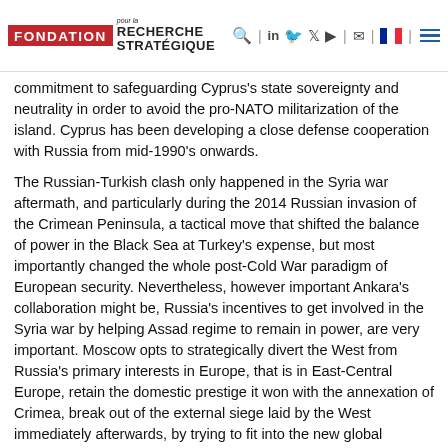Fondation pour la Recherche Stratégique
commitment to safeguarding Cyprus's state sovereignty and neutrality in order to avoid the pro-NATO militarization of the island. Cyprus has been developing a close defense cooperation with Russia from mid-1990's onwards.
The Russian-Turkish clash only happened in the Syria war aftermath, and particularly during the 2014 Russian invasion of the Crimean Peninsula, a tactical move that shifted the balance of power in the Black Sea at Turkey's expense, but most importantly changed the whole post-Cold War paradigm of European security. Nevertheless, however important Ankara's collaboration might be, Russia's incentives to get involved in the Syria war by helping Assad regime to remain in power, are very important. Moscow opts to strategically divert the West from Russia's primary interests in Europe, that is in East-Central Europe, retain the domestic prestige it won with the annexation of Crimea, break out of the external siege laid by the West immediately afterwards, by trying to fit into the new global